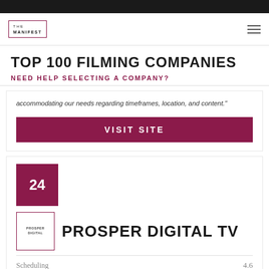[Figure (logo): The Manifest logo with hamburger menu icon]
TOP 100 FILMING COMPANIES
NEED HELP SELECTING A COMPANY?
accommodating our needs regarding timeframes, location, and content."
VISIT SITE
24
[Figure (logo): Prosper Digital TV company logo]
PROSPER DIGITAL TV
Scheduling 4.6